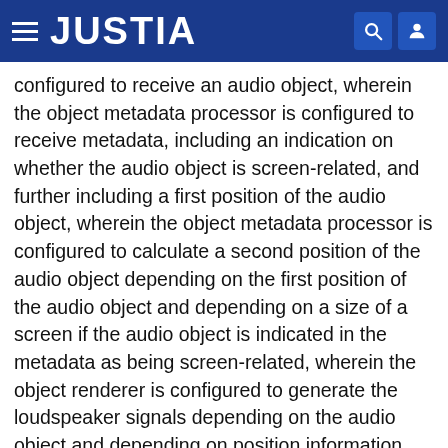JUSTIA
configured to receive an audio object, wherein the object metadata processor is configured to receive metadata, including an indication on whether the audio object is screen-related, and further including a first position of the audio object, wherein the object metadata processor is configured to calculate a second position of the audio object depending on the first position of the audio object and depending on a size of a screen if the audio object is indicated in the metadata as being screen-related, wherein the object renderer is configured to generate the loudspeaker signals depending on the audio object and depending on position information, wherein the object metadata processor is configured to feed the first position of the audio object as the position information into the object renderer if the audio object is indicated in the metadata as being not screen-related, and wherein the object